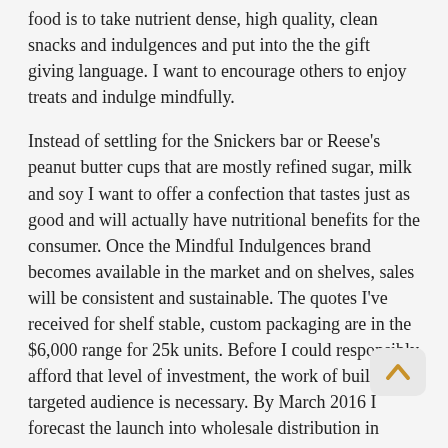food is to take nutrient dense, high quality, clean snacks and indulgences and put into the the gift giving language. I want to encourage others to enjoy treats and indulge mindfully.
Instead of settling for the Snickers bar or Reese's peanut butter cups that are mostly refined sugar, milk and soy I want to offer a confection that tastes just as good and will actually have nutritional benefits for the consumer. Once the Mindful Indulgences brand becomes available in the market and on shelves, sales will be consistent and sustainable. The quotes I've received for shelf stable, custom packaging are in the $6,000 range for 25k units. Before I could responsibly afford that level of investment, the work of building a targeted audience is necessary. By March 2016 I forecast the launch into wholesale distribution in Illinois Whole Foods and Mariano's, with plans to expand distribution in the mid west.
What is the purpose of this loan?
Bringing Mindful Indulgences to market will help sustain my culinary practice and business growth by increasing